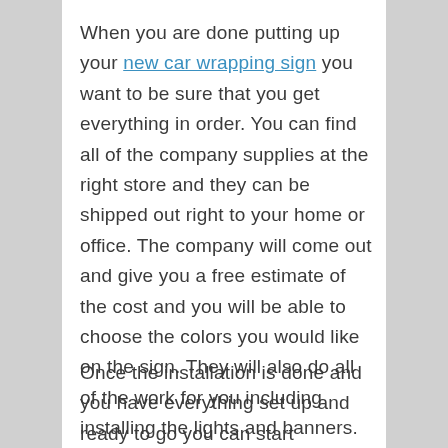When you are done putting up your new car wrapping sign you want to be sure that you get everything in order. You can find all of the company supplies at the right store and they can be shipped out right to your home or office. The company will come out and give you a free estimate of the cost and you will be able to choose the colors you would like on the sign. They will also do all of the work for you including installing the lights and banners.
Once the installation is done and you have everything set up and ready to go you can start